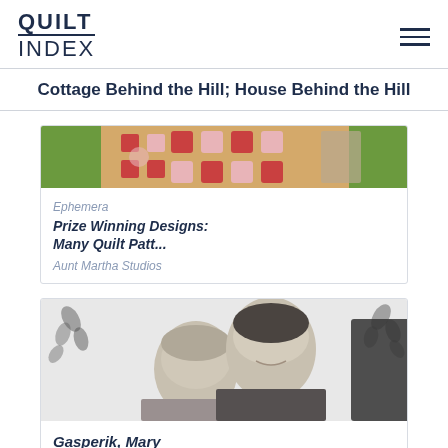QUILT INDEX
Cottage Behind the Hill; House Behind the Hill
[Figure (photo): Colorful quilt pattern image showing pink floral/geometric quilt design on green background]
Ephemera
Prize Winning Designs: Many Quilt Patt...
Aunt Martha Studios
[Figure (photo): Black and white photograph of two women, one older on the left and one younger on the right, with floral wallpaper in background]
Gasperik, Mary
Quiltmaker
Susan Salser